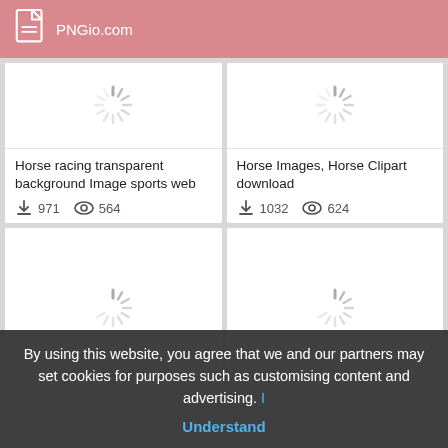PNGio.com
[Figure (screenshot): Loading spinner placeholder for horse racing image card with title 'Horse racing transparent background Image sports web', downloads 971, views 564]
[Figure (screenshot): Loading spinner placeholder for horse images card with title 'Horse Images, Horse Clipart download', downloads 1032, views 624]
[Figure (screenshot): Loading spinner placeholder for bottom-left card (partially visible)]
[Figure (screenshot): Loading spinner placeholder for bottom-right card (partially visible)]
By using this website, you agree that we and our partners may set cookies for purposes such as customising content and advertising. I Understand